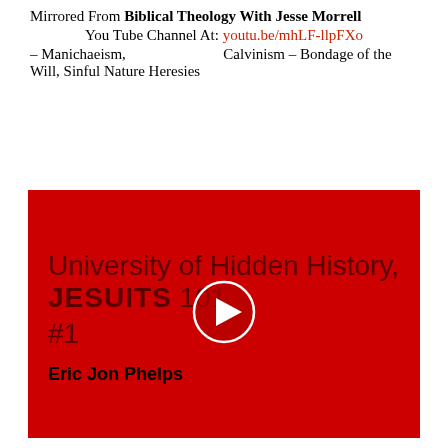Mirrored From Biblical Theology With Jesse Morrell
You Tube Channel At: youtu.be/mhLF-llpFXo
– Manichaeism, Calvinism – Bondage of the Will, Sinful Nature Heresies
[Figure (screenshot): Video thumbnail with red background showing text 'University of Hidden History, JESUITS 101 #1' and 'Eric Jon Phelps' with a play button overlay]